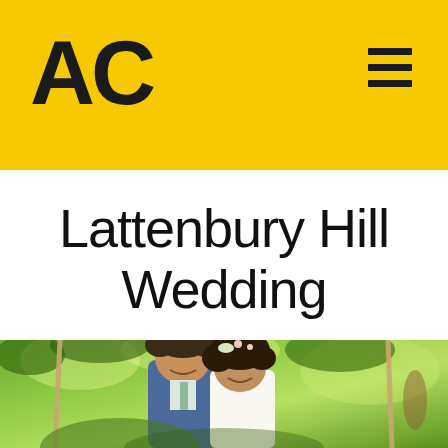AC
Lattenbury Hill Wedding
[Figure (photo): Wedding couple smiling together outdoors at Lattenbury Hill. Groom in blue suit with light tie, bride with curly hair and flower crown in white dress. Green leafy background with rope swings visible.]